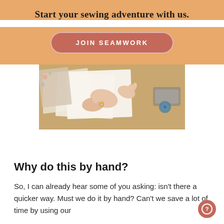Start your sewing adventure with us.
JOIN SEAMWORK
[Figure (photo): Overhead view of hands working with white fabric/pattern pieces on a tan/brown surface, with sewing notions visible]
Why do this by hand?
So, I can already hear some of you asking: isn't there a quicker way. Must we do it by hand? Can't we save a lot of time by using our